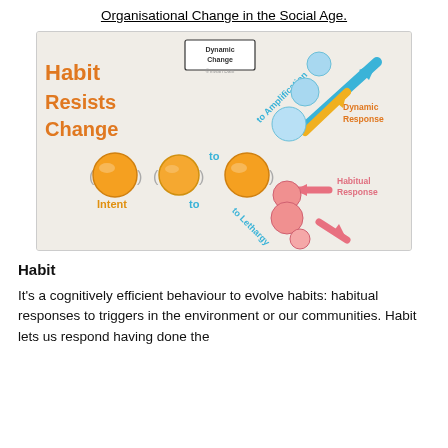Organisational Change in the Social Age.
[Figure (illustration): Sketchnote illustration showing 'Habit Resists Change'. Three orange circles labeled 'Intent' on the left, arrows pointing to blue circles going upward labeled 'to Amplification' leading to 'Dynamic Response', and pink circles going downward labeled 'to Lethargy' leading to 'Habitual Response'. A box at top center reads 'Dynamic Change'.]
Habit
It's a cognitively efficient behaviour to evolve habits: habitual responses to triggers in the environment or our communities. Habit lets us respond having done the